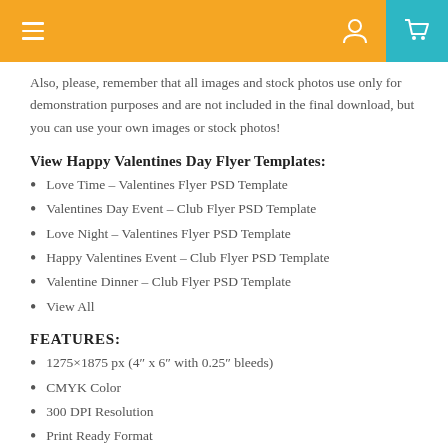Navigation header with menu, user icon, and cart icon
Also, please, remember that all images and stock photos use only for demonstration purposes and are not included in the final download, but you can use your own images or stock photos!
View Happy Valentines Day Flyer Templates:
Love Time – Valentines Flyer PSD Template
Valentines Day Event – Club Flyer PSD Template
Love Night – Valentines Flyer PSD Template
Happy Valentines Event – Club Flyer PSD Template
Valentine Dinner – Club Flyer PSD Template
View All
FEATURES:
1275×1875 px (4″ x 6″ with 0.25″ bleeds)
CMYK Color
300 DPI Resolution
Print Ready Format
Organized, Layered & Color Coded